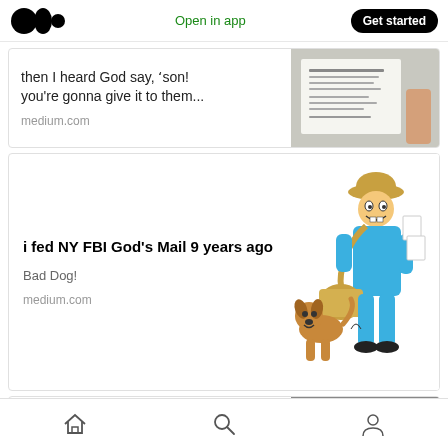Medium logo | Open in app | Get started
then I heard God say, 'son! you're gonna give it to them...
medium.com
i fed NY FBI God's Mail 9 years ago
Bad Dog!
medium.com
Dear NY FBI, do you
Home | Search | Profile